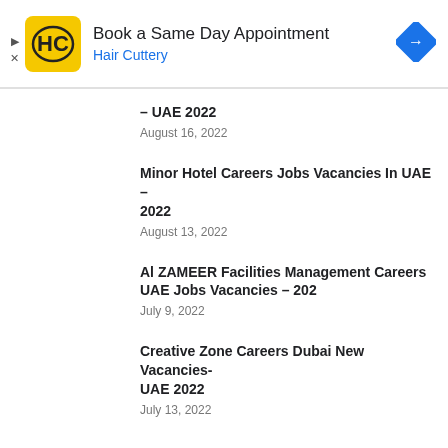[Figure (other): Hair Cuttery advertisement banner with logo, 'Book a Same Day Appointment', blue navigation arrow icon]
– UAE 2022
August 16, 2022
Minor Hotel Careers Jobs Vacancies In UAE – 2022
August 13, 2022
Al ZAMEER Facilities Management Careers UAE Jobs Vacancies – 202
July 9, 2022
Creative Zone Careers Dubai New Vacancies- UAE 2022
July 13, 2022